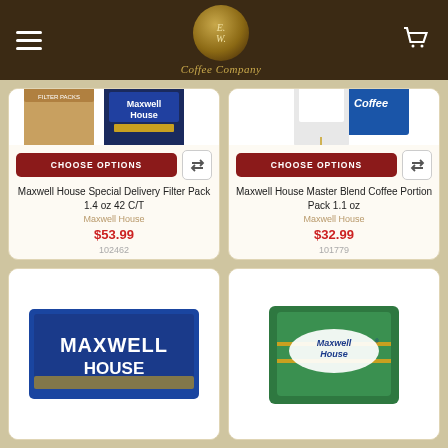E.W. Coffee Company
[Figure (photo): Maxwell House Special Delivery Filter Pack product image]
CHOOSE OPTIONS
Maxwell House Special Delivery Filter Pack 1.4 oz 42 C/T
Maxwell House
$53.99
102462
[Figure (photo): Maxwell House Master Blend Coffee Portion Pack product image]
CHOOSE OPTIONS
Maxwell House Master Blend Coffee Portion Pack 1.1 oz
Maxwell House
$32.99
101779
[Figure (photo): Maxwell House logo product image - blue label]
[Figure (photo): Maxwell House green bag product image]